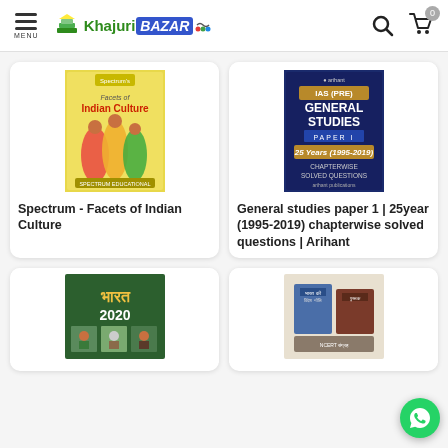MENU | KhajuriBazar | Search | Cart (0)
[Figure (photo): Book cover: Spectrum - Facets of Indian Culture, yellow cover with dancers]
Spectrum - Facets of Indian Culture
[Figure (photo): Book cover: IAS (PRE) General Studies Paper 1 - 25 Years (1995-2019) Chapterwise Solved Questions | Arihant, dark blue cover]
General studies paper 1 | 25year (1995-2019) chapterwise solved questions | Arihant
[Figure (photo): Book cover: Bharat 2020, dark green cover with photos]
[Figure (photo): Book cover: Collection of books stacked together]